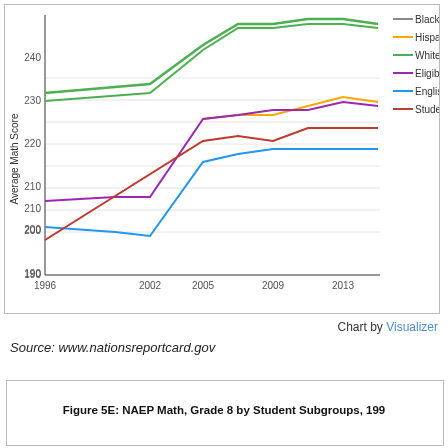[Figure (line-chart): NAEP Math, Grade 4/8 by Student Subgroups]
Chart by Visualizer
Source: www.nationsreportcard.gov
Figure 5E: NAEP Math, Grade 8 by Student Subgroups, 199...